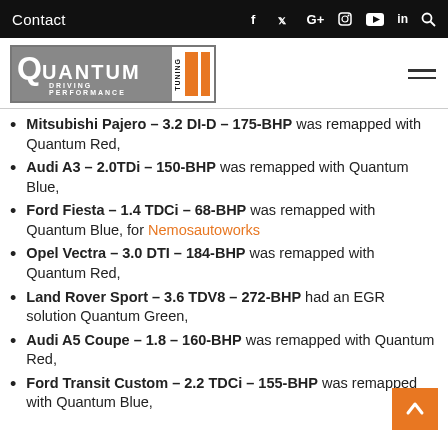Contact  [social icons]
[Figure (logo): Quantum Tuning – Driving Performance logo with orange stripes on grey background]
Mitsubishi Pajero – 3.2 DI-D – 175-BHP was remapped with Quantum Red,
Audi A3 – 2.0TDi – 150-BHP was remapped with Quantum Blue,
Ford Fiesta – 1.4 TDCi – 68-BHP was remapped with Quantum Blue, for Nemosautoworks
Opel Vectra – 3.0 DTI – 184-BHP was remapped with Quantum Red,
Land Rover Sport – 3.6 TDV8 – 272-BHP had an EGR solution Quantum Green,
Audi A5 Coupe – 1.8 – 160-BHP was remapped with Quantum Red,
Ford Transit Custom – 2.2 TDCi – 155-BHP was remapped with Quantum Blue,